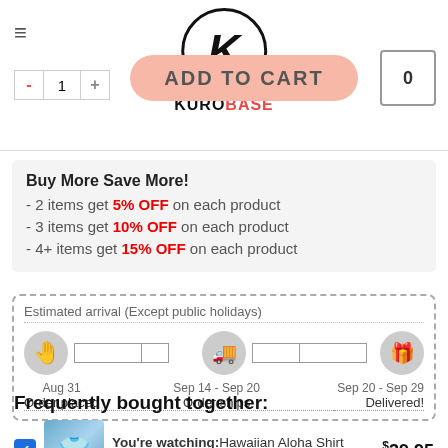KUROBASE — ADD TO CART
Buy More Save More!
- 2 items get 5% OFF on each product
- 3 items get 10% OFF on each product
- 4+ items get 15% OFF on each product
[Figure (infographic): Estimated arrival timeline showing Order placed Aug 31, Order ships Sep 14 - Sep 20, Delivered! Sep 20 - Sep 29]
Frequently bought together:
You're watching: Hawaiian Aloha Shirt Tik... $39.95